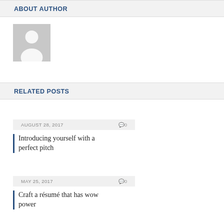ABOUT AUTHOR
[Figure (illustration): Grey placeholder avatar image with a person silhouette]
RELATED POSTS
AUGUST 28, 2017   0
Introducing yourself with a perfect pitch
MAY 25, 2017   0
Craft a résumé that has wow power